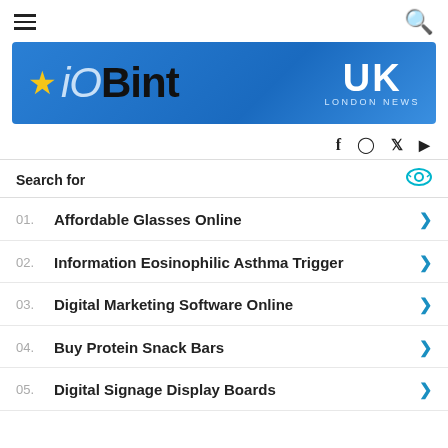iOBint UK London News
[Figure (logo): iOBint UK London News website logo on blue gradient background with star icon]
Search for
01. Affordable Glasses Online
02. Information Eosinophilic Asthma Trigger
03. Digital Marketing Software Online
04. Buy Protein Snack Bars
05. Digital Signage Display Boards